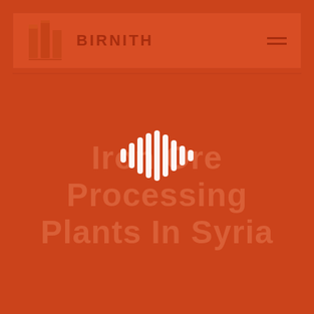[Figure (logo): Birnith company logo with orange building/column icon and brand name BIRNITH with hamburger menu icon on right, shown in a header bar with orange/red tinted background]
[Figure (other): Audio waveform / loading indicator icon showing white vertical bars of varying heights arranged in a waveform pattern, centered on the page]
Iron Ore Processing Plants In Syria